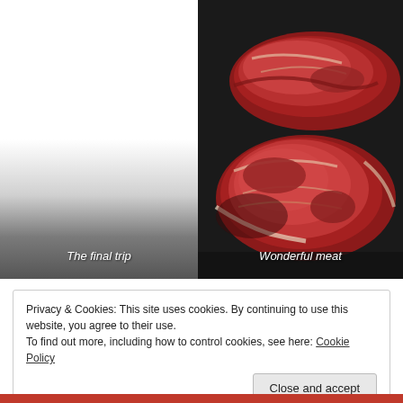[Figure (photo): Left panel: grey gradient background with italic caption 'The final trip' in white at bottom]
[Figure (photo): Right panel: photo of raw red meat pieces on dark surface, with italic caption 'Wonderful meat' in white at bottom]
Privacy & Cookies: This site uses cookies. By continuing to use this website, you agree to their use.
To find out more, including how to control cookies, see here: Cookie Policy
Close and accept